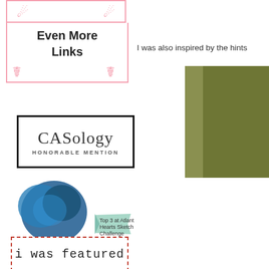[Figure (illustration): Pink decorative border with spiral/scroll designs at top of sidebar]
Even More Links
[Figure (logo): CASology Honorable Mention badge - black border rectangle with CASology text and HONORABLE MENTION below]
[Figure (illustration): Atlantic Hearts Sketch Challenge Top 3 badge with blue heart and teal ribbon]
[Figure (illustration): I was featured badge with dashed red border]
I was also inspired by the hints
[Figure (photo): Partial photo showing olive/khaki green colored surface or paper]